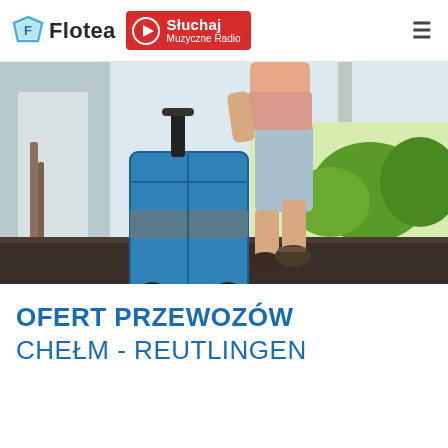Flotea | Słuchaj Muzyczne Radio
[Figure (photo): Person walking with a blue rolling suitcase through a doorway, wearing shorts and sandals, greenery visible outside]
OFERT PRZEWOZÓW
CHEŁM - REUTLINGEN